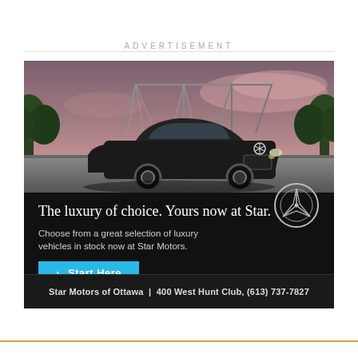ADVERTISEMENT
[Figure (photo): Mercedes-Benz SUV parked in front of a bridge and cityscape at dusk, with trees on both sides. Black background advertisement for Star Motors of Ottawa featuring headline 'The luxury of choice. Yours now at Star.', subtext 'Choose from a great selection of luxury vehicles in stock now at Star Motors.', a cyan 'Start Here' button, and the Mercedes-Benz three-pointed star logo.]
Star Motors of Ottawa | 400 West Hunt Club, (613) 737-7827